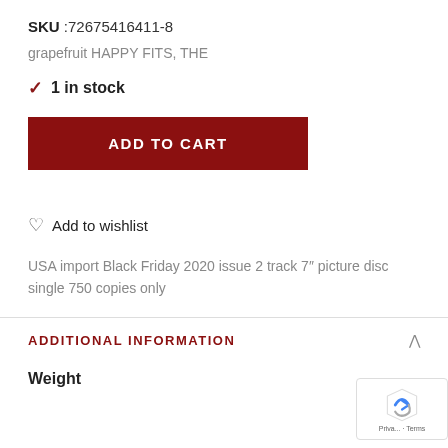SKU :72675416411-8
grapefruit HAPPY FITS, THE
✓ 1 in stock
ADD TO CART
♡ Add to wishlist
USA import Black Friday 2020 issue 2 track 7" picture disc single 750 copies only
ADDITIONAL INFORMATION
Weight